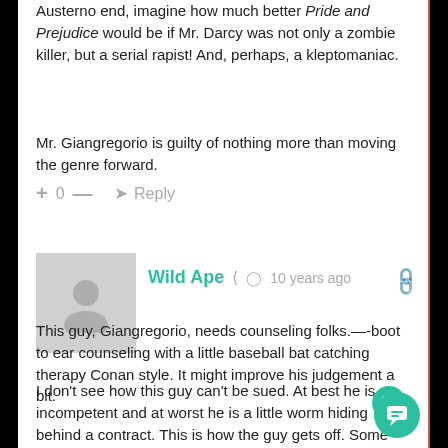Austerno end, imagine how much better Pride and Prejudice would be if Mr. Darcy was not only a zombie killer, but a serial rapist! And, perhaps, a kleptomaniac.
Mr. Giangregorio is guilty of nothing more than moving the genre forward.
+ 0 — ➜ Reply
[Figure (illustration): Grey avatar placeholder image showing a person silhouette]
Wild Ape  10 years ago
This guy, Giangregorio, needs counseling folks.—-boot to ear counseling with a little baseball bat catching therapy Conan style. It might improve his judgement a bit.
I don't see how this guy can't be sued. At best he is incompetent and at worst he is a little worm hiding behind a contract. This is how the guy gets off. Some post a picture of him so that every convention he goes to he is shunned.